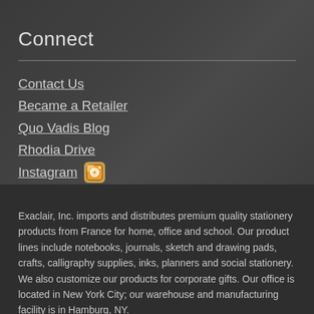Connect
Contact Us
Became a Retailer
Quo Vadis Blog
Rhodia Drive
Instagram
Exaclair, Inc. imports and distributes premium quality stationery products from France for home, office and school. Our product lines include notebooks, journals, sketch and drawing pads, crafts, calligraphy supplies, inks, planners and social stationery. We also customize our products for corporate gifts. Our office is located in New York City; our warehouse and manufacturing facility is in Hamburg, NY.